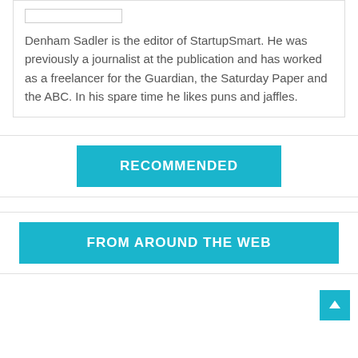Denham Sadler is the editor of StartupSmart. He was previously a journalist at the publication and has worked as a freelancer for the Guardian, the Saturday Paper and the ABC. In his spare time he likes puns and jaffles.
RECOMMENDED
FROM AROUND THE WEB